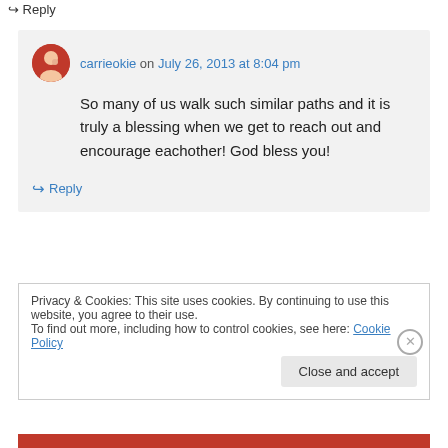↪ Reply
carrieokie on July 26, 2013 at 8:04 pm
So many of us walk such similar paths and it is truly a blessing when we get to reach out and encourage eachother! God bless you!
↪ Reply
Privacy & Cookies: This site uses cookies. By continuing to use this website, you agree to their use.
To find out more, including how to control cookies, see here: Cookie Policy
Close and accept